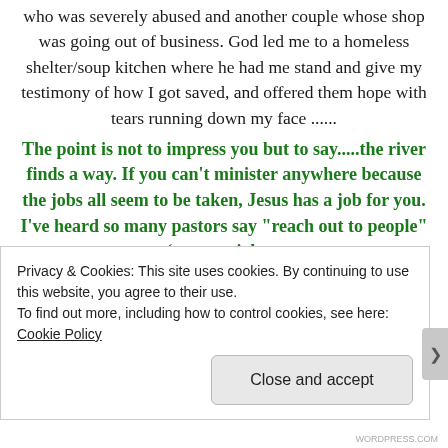who was severely abused and another couple whose shop was going out of business. God led me to a homeless shelter/soup kitchen where he had me stand and give my testimony of how I got saved, and offered them hope with tears running down my face ......
The point is not to impress you but to say.....the river finds a way. If you can't minister anywhere because the jobs all seem to be taken, Jesus has a job for you. I've heard so many pastors say "reach out to people" (on your job or wherever) but we all know that's not so easy
Privacy & Cookies: This site uses cookies. By continuing to use this website, you agree to their use. To find out more, including how to control cookies, see here: Cookie Policy
Close and accept